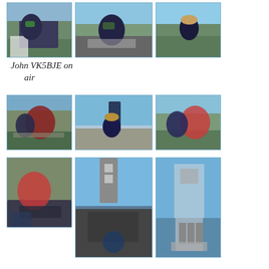[Figure (photo): Three outdoor photos in a row: person crouching on rocks among bushes; person leaning over equipment on rocks; person standing on rocks with mountains in background]
John VK5BJE on air
[Figure (photo): Three outdoor photos in a row: two people on rocky terrain with equipment; person in hat standing near equipment with mountains behind; two people on rocks with equipment]
[Figure (photo): Three outdoor photos: person in red jacket on rocks; tall antenna/mast structure against blue sky; antenna equipment against blue sky]